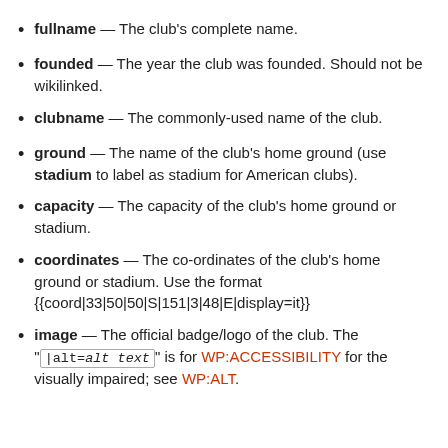fullname — The club's complete name.
founded — The year the club was founded. Should not be wikilinked.
clubname — The commonly-used name of the club.
ground — The name of the club's home ground (use stadium to label as stadium for American clubs).
capacity — The capacity of the club's home ground or stadium.
coordinates — The co-ordinates of the club's home ground or stadium. Use the format {{coord|33|50|50|S|151|3|48|E|display=it}}
image — The official badge/logo of the club. The "|alt=alt text" is for WP:ACCESSIBILITY for the visually impaired; see WP:ALT.